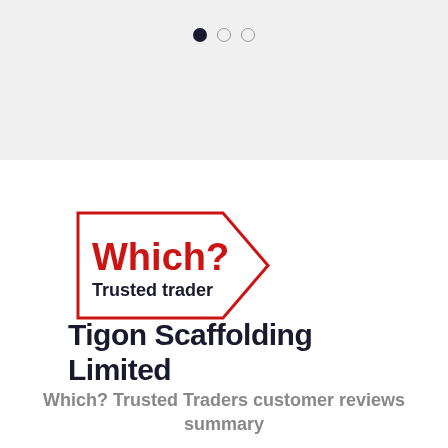[Figure (other): Pagination dots: one filled dark circle and two empty circles]
[Figure (logo): Which? Trusted Trader logo — hexagon-shaped badge with red 'Which?' text and black 'Trusted trader' text below]
Tigon Scaffolding Limited
Which? Trusted Traders customer reviews summary